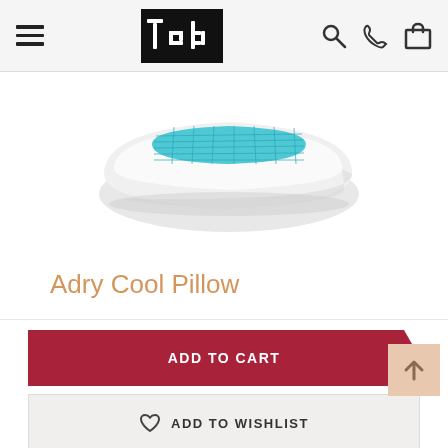TED - navigation header with menu, logo, search, phone, cart icons
[Figure (photo): Product photo of the Adry Cool Pillow — a white memory foam pillow with a blue gel cooling grid panel on the top surface, shown in three-quarter perspective view]
Adry Cool Pillow
ADD TO CART
ADD TO WISHLIST
ADD TO COMPARE